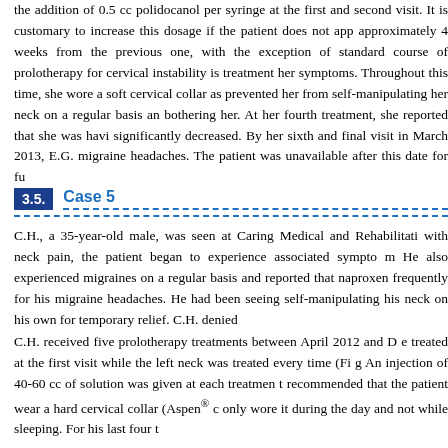the addition of 0.5 cc polidocanol per syringe at the first and second visit. It is customary to increase this dosage if the patient does not appear approximately 4 weeks from the previous one, with the exception of the standard course of prolotherapy for cervical instability is treatment until her symptoms. Throughout this time, she wore a soft cervical collar as it prevented her from self-manipulating her neck on a regular basis and bothering her. At her fourth treatment, she reported that she was having significantly decreased. By her sixth and final visit in March 2013, E.G. migraine headaches. The patient was unavailable after this date for fu
3.5. Case 5
C.H., a 35-year-old male, was seen at Caring Medical and Rehabilitation with neck pain, the patient began to experience associated symptoms. He also experienced migraines on a regular basis and reported that naproxen frequently for his migraine headaches. He had been seeing self-manipulating his neck on his own for temporary relief. C.H. denied
C.H. received five prolotherapy treatments between April 2012 and De treated at the first visit while the left neck was treated every time (Fig An injection of 40-60 cc of solution was given at each treatment recommended that the patient wear a hard cervical collar (Aspen® c only wore it during the day and not while sleeping. For his last four t